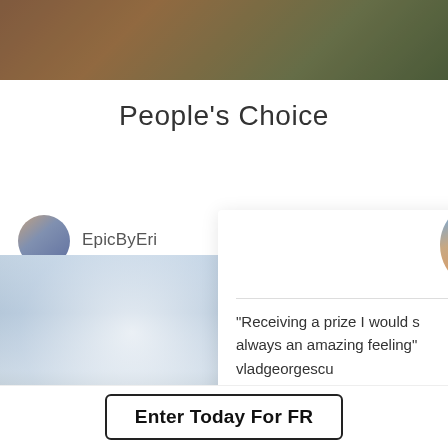[Figure (photo): Close-up photo of an animal (fur/leaves visible) — partially cropped at top of page]
People's Choice
[Figure (photo): Small circular avatar of a woman (EpicByEri profile photo)]
EpicByEri
[Figure (photo): Circular avatar of a smiling man (vladgeorgescu profile photo)]
[Figure (photo): Blurry beach/ocean landscape photo on the left side]
"Receiving a prize I would s always an amazing feeling" vladgeorgescu
Join Now and unlock an ex
Enter Today For FR